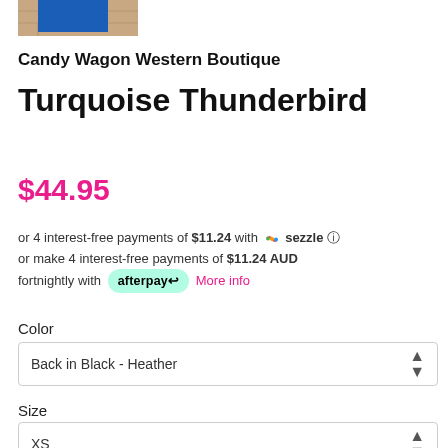[Figure (photo): Partial product image showing blue and brick-wall background, cropped at top of page]
Candy Wagon Western Boutique
Turquoise Thunderbird
$44.95
or 4 interest-free payments of $11.24 with Sezzle or make 4 interest-free payments of $11.24 AUD fortnightly with afterpay More info
Color
Back in Black - Heather
Size
XS